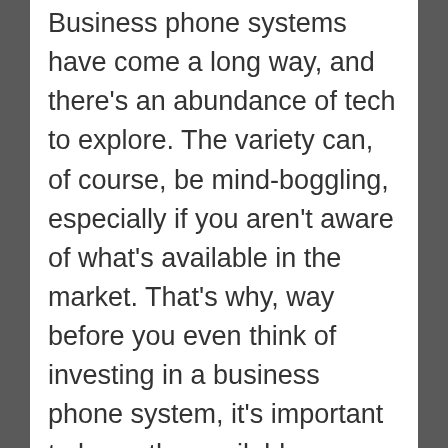Business phone systems have come a long way, and there's an abundance of tech to explore. The variety can, of course, be mind-boggling, especially if you aren't aware of what's available in the market. That's why, way before you even think of investing in a business phone system, it's important to know the available options.
Traditional Landline Systems: These systems were once among the most popular phone systems for businesses. However, many places in the world are slowly phasing these systems out. In this system, businesses use traditional landline phones and the lines are